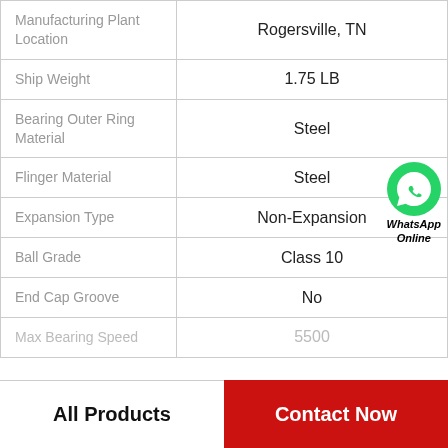| Property | Value |
| --- | --- |
| Manufacturing Plant Location | Rogersville, TN |
| Ship Weight | 1.75 LB |
| Bearing Outer Ring Material | Steel |
| Flinger Material | Steel |
| Expansion Type | Non-Expansion |
| Ball Grade | Class 10 |
| End Cap Groove | No |
| Max Bearing Speed | 5500 |
All Products
Contact Now